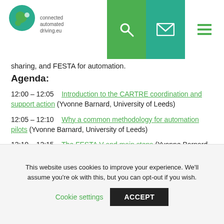connected automated driving.eu — navigation bar with logo, search, email, and menu icons
sharing, and FESTA for automation.
Agenda:
12:00 – 12:05   Introduction to the CARTRE coordination and support action (Yvonne Barnard, University of Leeds)
12:05 – 12:10   Why a common methodology for automation pilots (Yvonne Barnard, University of Leeds)
12:10 – 12:15   The FESTA V and main steps (Yvonne Barnard, University of Leeds)
This website uses cookies to improve your experience. We'll assume you're ok with this, but you can opt-out if you wish. Cookie settings  ACCEPT